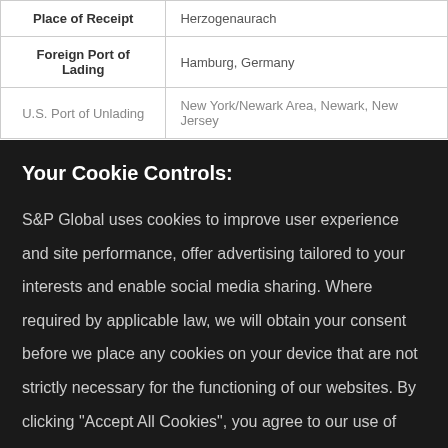|  |  |
| --- | --- |
| Place of Receipt | Herzogenaurach |
| Foreign Port of Lading | Hamburg, Germany |
| U.S. Port of Unlading | New York/Newark Area, Newark, New Jersey |
Your Cookie Controls:
S&P Global uses cookies to improve user experience and site performance, offer advertising tailored to your interests and enable social media sharing. Where required by applicable law, we will obtain your consent before we place any cookies on your device that are not strictly necessary for the functioning of our websites. By clicking "Accept All Cookies", you agree to our use of cookies. Learn about our cookies and how to